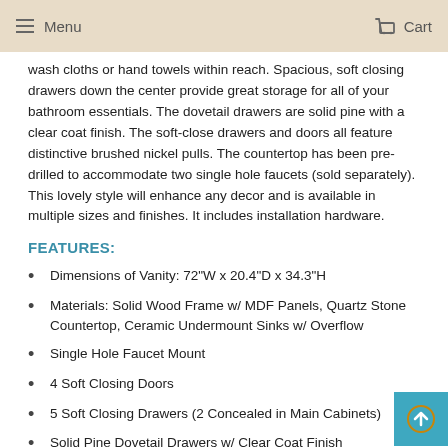Menu  Cart
wash cloths or hand towels within reach. Spacious, soft closing drawers down the center provide great storage for all of your bathroom essentials. The dovetail drawers are solid pine with a clear coat finish. The soft-close drawers and doors all feature distinctive brushed nickel pulls. The countertop has been pre-drilled to accommodate two single hole faucets (sold separately). This lovely style will enhance any decor and is available in multiple sizes and finishes. It includes installation hardware.
FEATURES:
Dimensions of Vanity: 72"W x 20.4"D x 34.3"H
Materials: Solid Wood Frame w/ MDF Panels, Quartz Stone Countertop, Ceramic Undermount Sinks w/ Overflow
Single Hole Faucet Mount
4 Soft Closing Doors
5 Soft Closing Drawers (2 Concealed in Main Cabinets)
Solid Pine Dovetail Drawers w/ Clear Coat Finish